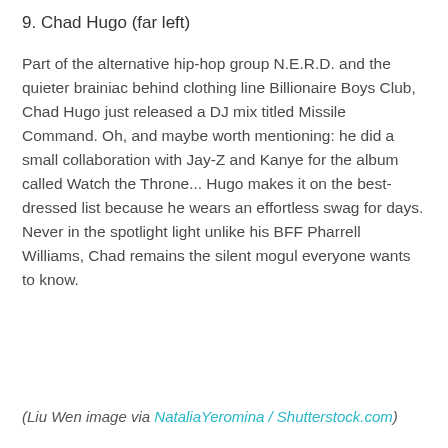9. Chad Hugo (far left)
Part of the alternative hip-hop group N.E.R.D. and the quieter brainiac behind clothing line Billionaire Boys Club, Chad Hugo just released a DJ mix titled Missile Command. Oh, and maybe worth mentioning: he did a small collaboration with Jay-Z and Kanye for the album called Watch the Throne... Hugo makes it on the best-dressed list because he wears an effortless swag for days. Never in the spotlight light unlike his BFF Pharrell Williams, Chad remains the silent mogul everyone wants to know.
(Liu Wen image via NataliaYeromina / Shutterstock.com)